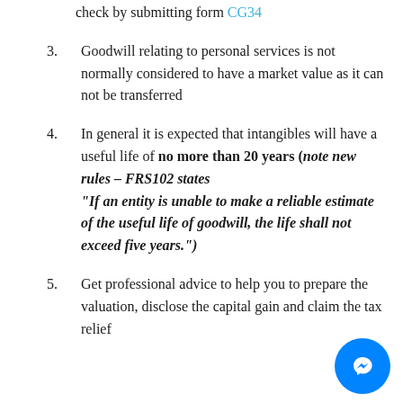check by submitting form CG34
3. Goodwill relating to personal services is not normally considered to have a market value as it can not be transferred
4. In general it is expected that intangibles will have a useful life of no more than 20 years (note new rules – FRS102 states "If an entity is unable to make a reliable estimate of the useful life of goodwill, the life shall not exceed five years.")
5. Get professional advice to help you to prepare the valuation, disclose the capital gain and claim the tax relief